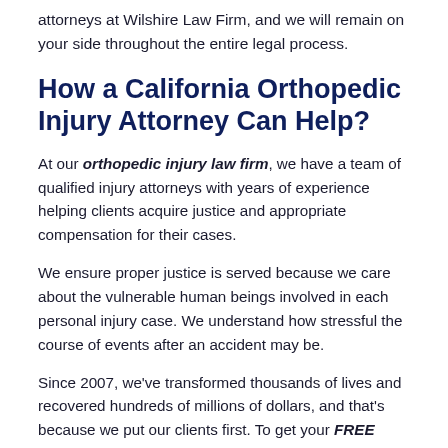attorneys at Wilshire Law Firm, and we will remain on your side throughout the entire legal process.
How a California Orthopedic Injury Attorney Can Help?
At our orthopedic injury law firm, we have a team of qualified injury attorneys with years of experience helping clients acquire justice and appropriate compensation for their cases.
We ensure proper justice is served because we care about the vulnerable human beings involved in each personal injury case. We understand how stressful the course of events after an accident may be.
Since 2007, we've transformed thousands of lives and recovered hundreds of millions of dollars, and that's because we put our clients first. To get your FREE legal case